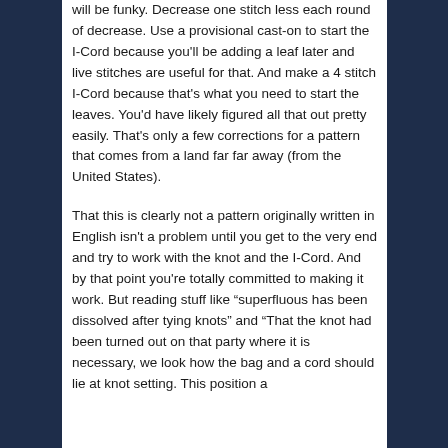will be funky. Decrease one stitch less each round of decrease. Use a provisional cast-on to start the I-Cord because you'll be adding a leaf later and live stitches are useful for that. And make a 4 stitch I-Cord because that's what you need to start the leaves. You'd have likely figured all that out pretty easily. That's only a few corrections for a pattern that comes from a land far far away (from the United States).
That this is clearly not a pattern originally written in English isn't a problem until you get to the very end and try to work with the knot and the I-Cord. And by that point you're totally committed to making it work. But reading stuff like "superfluous has been dissolved after tying knots" and "That the knot had been turned out on that party where it is necessary, we look how the bag and a cord should lie at knot setting. This position a